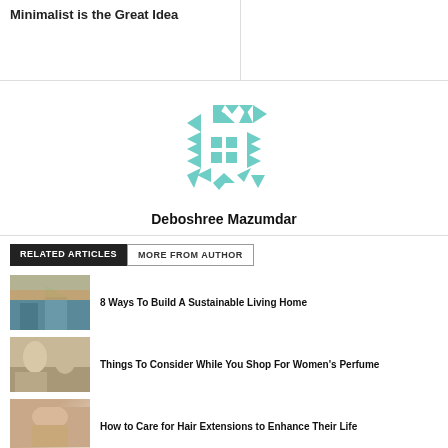Minimalist is the Great Idea
[Figure (logo): Geometric teal/mint colored logo with triangles, arrows and squares arranged in a symmetrical pattern]
Deboshree Mazumdar
RELATED ARTICLES   MORE FROM AUTHOR
8 Ways To Build A Sustainable Living Home
Things To Consider While You Shop For Women's Perfume
How to Care for Hair Extensions to Enhance Their Life